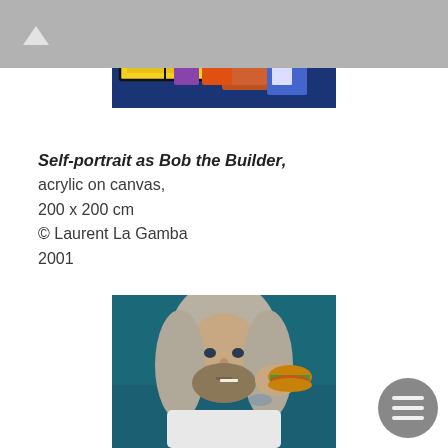[Figure (photo): Top portion of a colorful acrylic painting showing a cartoon-style scene with bright yellow, blue and orange tones depicting Bob the Builder theme]
Self-portrait as Bob the Builder, acrylic on canvas, 200 x 200 cm © Laurent La Gamba 2001
[Figure (photo): Photograph of a young man with long flowing grey/white hair, beard, holding a hamburger, wearing a white shirt, against a teal/dark blue background]